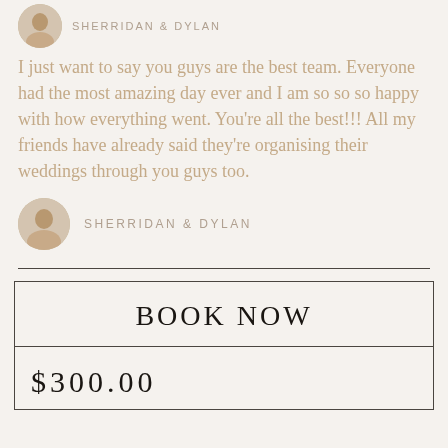SHERRIDAN & DYLAN
I just want to say you guys are the best team. Everyone had the most amazing day ever and I am so so so happy with how everything went. You're all the best!!! All my friends have already said they're organising their weddings through you guys too.
SHERRIDAN & DYLAN
BOOK NOW
$300.00